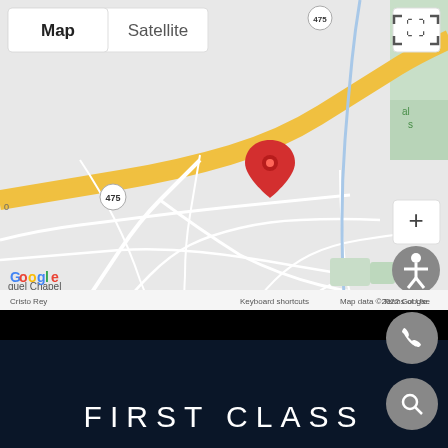[Figure (map): Google Maps screenshot showing a location pin (red marker) in a wooded/suburban area. Map shows roads including route 475, labels for 'guel Chapel', 'Cristo Rey', 'of Art', 'co'. Map/Satellite toggle buttons visible top-left. Fullscreen expand icon top-right. Zoom plus button and accessibility icon on right side. Google logo bottom-left. Bottom bar shows 'Keyboard shortcuts', 'Map data ©2022 Google', 'Terms of Use'. A phone icon (circular gray button) and search icon (circular gray button) overlay the bottom-right.]
FIRST CLASS